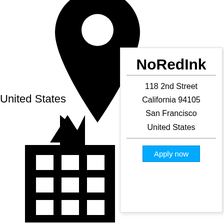[Figure (illustration): Large black map location pin icon, cropped at top, showing upper portion of pin with circle hole]
United States
[Figure (illustration): Black silhouette of a multi-story office building icon with square windows]
NoRedInk
118 2nd Street
California 94105
San Francisco
United States
Apply now